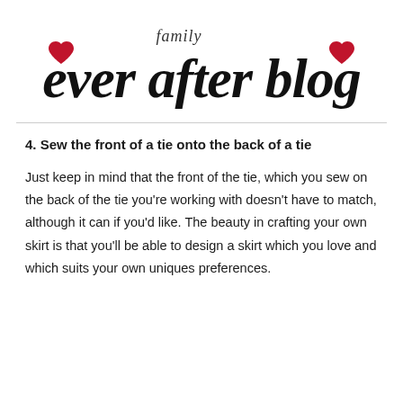family ever after blog
4. Sew the front of a tie onto the back of a tie
Just keep in mind that the front of the tie, which you sew on the back of the tie you're working with doesn't have to match, although it can if you'd like. The beauty in crafting your own skirt is that you'll be able to design a skirt which you love and which suits your own uniques preferences.